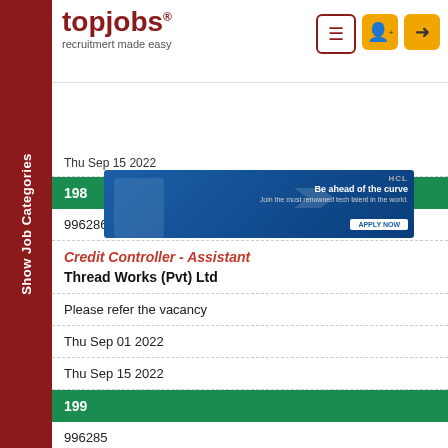[Figure (logo): topjobs logo with tagline 'recruitmert made easy']
[Figure (screenshot): HCL advertisement banner - Be ahead of the curve, Apply Now]
Thu Sep 15 2022
198
996286
Credit Controller - Assistant
Thread Works (Pvt) Ltd
Please refer the vacancy
Thu Sep 01 2022
Thu Sep 15 2022
199
996285
Senior ERP Project Manager
Show Job Categories